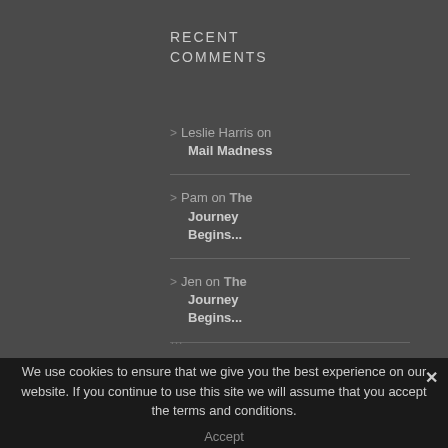RECENT COMMENTS
> Leslie Harris on Mail Madness
> Pam on The Journey Begins...
> Jen on The Journey Begins...
We use cookies to ensure that we give you the best experience on our website. If you continue to use this site we will assume that you accept the terms and conditions.
Accept